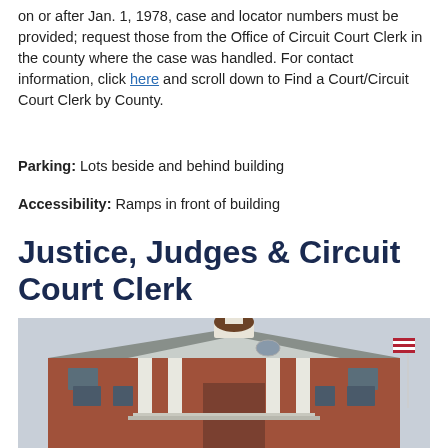on or after Jan. 1, 1978, case and locator numbers must be provided; request those from the Office of Circuit Court Clerk in the county where the case was handled. For contact information, click here and scroll down to Find a Court/Circuit Court Clerk by County.
Parking: Lots beside and behind building
Accessibility: Ramps in front of building
Justice, Judges & Circuit Court Clerk
[Figure (photo): Photo of a red brick courthouse building with white columns, a central cupola/dome, and a grey hipped roof. An American flag is visible on the right side. The sky is overcast/light grey.]